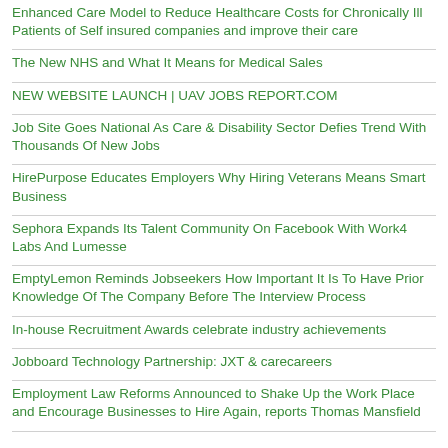Enhanced Care Model to Reduce Healthcare Costs for Chronically Ill Patients of Self insured companies and improve their care
The New NHS and What It Means for Medical Sales
NEW WEBSITE LAUNCH | UAV JOBS REPORT.COM
Job Site Goes National As Care & Disability Sector Defies Trend With Thousands Of New Jobs
HirePurpose Educates Employers Why Hiring Veterans Means Smart Business
Sephora Expands Its Talent Community On Facebook With Work4 Labs And Lumesse
EmptyLemon Reminds Jobseekers How Important It Is To Have Prior Knowledge Of The Company Before The Interview Process
In-house Recruitment Awards celebrate industry achievements
Jobboard Technology Partnership: JXT & carecareers
Employment Law Reforms Announced to Shake Up the Work Place and Encourage Businesses to Hire Again, reports Thomas Mansfield